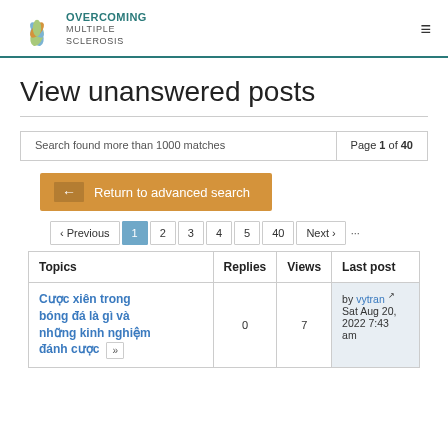OVERCOMING MULTIPLE SCLEROSIS
View unanswered posts
Search found more than 1000 matches   Page 1 of 40
← Return to advanced search
‹ Previous  1  2  3  4  5  40  Next ›  ...
| Topics | Replies | Views | Last post |
| --- | --- | --- | --- |
| Cược xiên trong bóng đá là gì và những kinh nghiệm đánh cược | 0 | 7 | by vytran
Sat Aug 20, 2022 7:43 am |